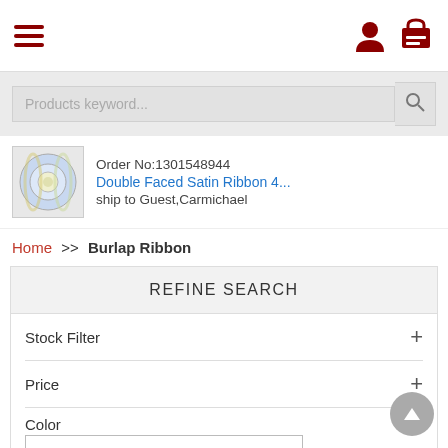Navigation header with hamburger menu and user/cart icons
Products keyword...
Order No:1301548944
Double Faced Satin Ribbon 4...
ship to Guest,Carmichael
Home >> Burlap Ribbon
REFINE SEARCH
Stock Filter
Price
Color
Size
Material